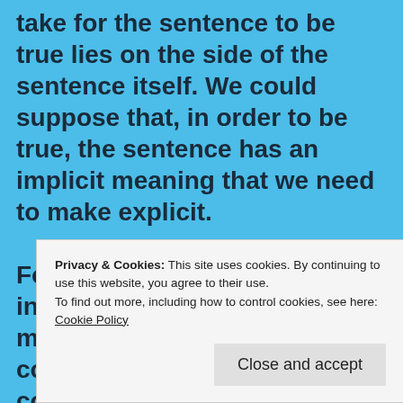take for the sentence to be true lies on the side of the sentence itself. We could suppose that, in order to be true, the sentence has an implicit meaning that we need to make explicit.

For example, we could include, what very well may be meant in some informal contexts, the implicit consideration that Vautrin is a fictional character. Thus, “Vautrin is a man” is a disguised form of“Balzac’s story says that Vautrin is a man” (or something to that effect). In that case, the sentence would be true.
Privacy & Cookies: This site uses cookies. By continuing to use this website, you agree to their use.
To find out more, including how to control cookies, see here: Cookie Policy
Close and accept